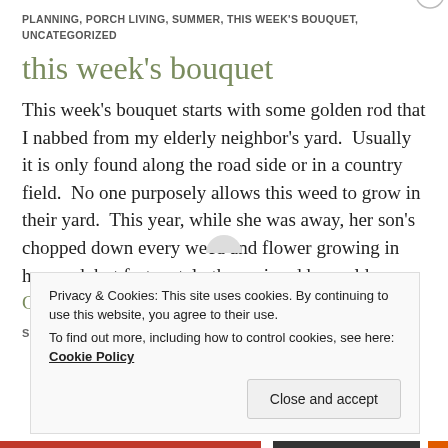PLANNING, PORCH LIVING, SUMMER, THIS WEEK'S BOUQUET, UNCATEGORIZED
this week's bouquet
This week's bouquet starts with some golden rod that I nabbed from my elderly neighbor's yard.  Usually it is only found along the road side or in a country field.  No one purposely allows this weed to grow in their yard.  This year, while she was away, her son's chopped down every weed and flower growing in her yard, but fortunately they missed her golden … Continue reading
SEPTEMBER 2, 2019 / 28 COMMENTS
Privacy & Cookies: This site uses cookies. By continuing to use this website, you agree to their use.
To find out more, including how to control cookies, see here: Cookie Policy
Close and accept